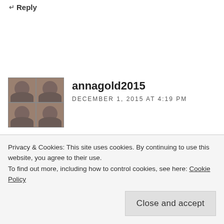↵ Reply
[Figure (photo): Avatar image grid showing a person's photo repeated in 2x2 grid format]
annagold2015
DECEMBER 1, 2015 AT 4:19 PM
All your blog posts are so amazing, and really make me think and re-think my own life and relationship with God. You are a really gifted
Privacy & Cookies: This site uses cookies. By continuing to use this website, you agree to their use. To find out more, including how to control cookies, see here: Cookie Policy
Close and accept